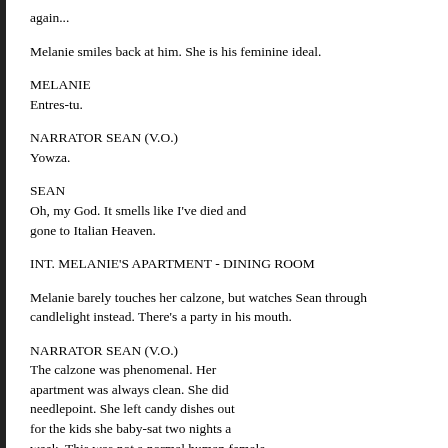again...
Melanie smiles back at him. She is his feminine ideal.
MELANIE
Entres-tu.
NARRATOR SEAN (V.O.)
Yowza.
SEAN
Oh, my God. It smells like I've died and gone to Italian Heaven.
INT. MELANIE'S APARTMENT - DINING ROOM
Melanie barely touches her calzone, but watches Sean through candlelight instead. There's a party in his mouth.
NARRATOR SEAN (V.O.)
The calzone was phenomenal. Her apartment was always clean. She did needlepoint. She left candy dishes out for the kids she baby-sat two nights a week. This was not a normal human female person. If she ever developed any interest in sex of any kind, I might have